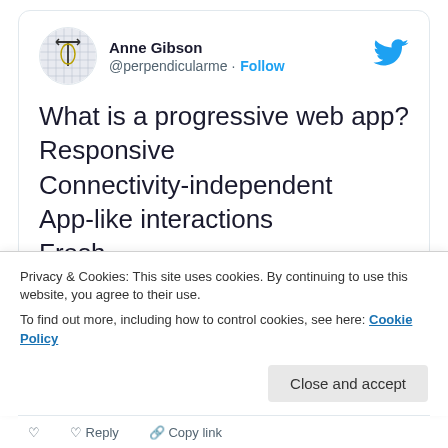[Figure (screenshot): Avatar image for Anne Gibson - a grid/graph paper background with a geometric figure drawn on it]
Anne Gibson @perpendicularme · Follow
[Figure (logo): Twitter bird logo in blue]
What is a progressive web app?
Responsive
Connectivity-independent
App-like interactions
Fresh
Safe
Discoverable
Re-engageable
Installable
Privacy & Cookies: This site uses cookies. By continuing to use this website, you agree to their use.
To find out more, including how to control cookies, see here: Cookie Policy
Close and accept
Reply   Copy link